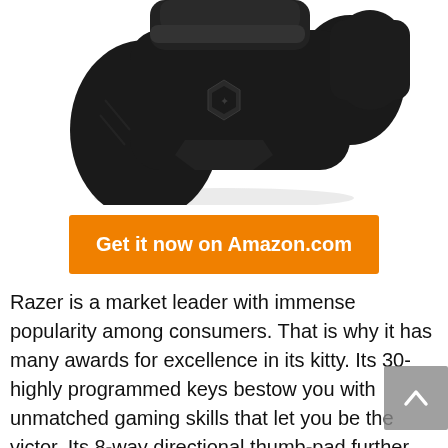[Figure (photo): Razer gaming controller/mouse viewed from above, black color with Razer logo visible, on white background — top portion cropped]
Get it now on Amazon.com
Razer is a market leader with immense popularity among consumers. That is why it has many awards for excellence in its kitty. Its 30-highly programmed keys bestow you with unmatched gaming skills that let you be the victor. Its 8-way directional thumb-pad further heightens the gaming…